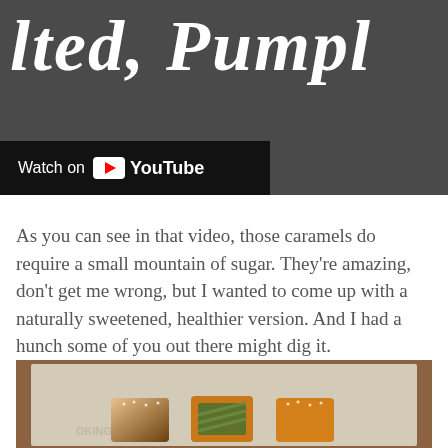[Figure (screenshot): YouTube video thumbnail showing script text reading 'lted, Pumpl' (partial, cut off) in white cursive on dark background, with a 'Watch on YouTube' overlay button in the lower left corner]
As you can see in that video, those caramels do require a small mountain of sugar. They're amazing, don't get me wrong, but I wanted to come up with a naturally sweetened, healthier version. And I had a hunch some of you out there might dig it.
[Figure (photo): Three small square caramel candies on parchment paper on a wooden surface. One has salt flakes, one has pumpkin seeds on top, and one has salt flakes. The caramels are golden-orange colored.]